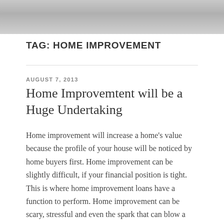TAG: HOME IMPROVEMENT
AUGUST 7, 2013
Home Improvemtent will be a Huge Undertaking
Home improvement will increase a home's value because the profile of your house will be noticed by home buyers first. Home improvement can be slightly difficult, if your financial position is tight. This is where home improvement loans have a function to perform. Home improvement can be scary, stressful and even the spark that can blow a tiny disagreement into a full-blown fight. Somehow, the smallest discussions over things as